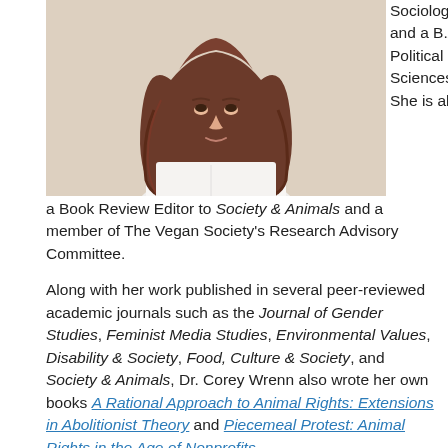[Figure (photo): Portrait photo of a woman with long brown hair wearing a white top, photographed against a light background]
Sociology and a B.A. in Political Sciences. She is also a Book Review Editor to Society & Animals and a member of The Vegan Society's Research Advisory Committee.
Along with her work published in several peer-reviewed academic journals such as the Journal of Gender Studies, Feminist Media Studies, Environmental Values, Disability & Society, Food, Culture & Society, and Society & Animals, Dr. Corey Wrenn also wrote her own books A Rational Approach to Animal Rights: Extensions in Abolitionist Theory and Piecemeal Protest: Animal Rights in the Age of Nonprofits.
In recent years, she has been researching to build on social movement theory to explore relationships between humans and non-human animals and animal liberation efforts. Her work prioritizes theories of intersectionality and oppression, especially